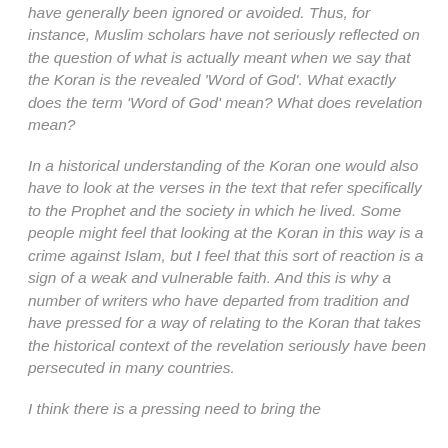have generally been ignored or avoided. Thus, for instance, Muslim scholars have not seriously reflected on the question of what is actually meant when we say that the Koran is the revealed 'Word of God'. What exactly does the term 'Word of God' mean? What does revelation mean?
In a historical understanding of the Koran one would also have to look at the verses in the text that refer specifically to the Prophet and the society in which he lived. Some people might feel that looking at the Koran in this way is a crime against Islam, but I feel that this sort of reaction is a sign of a weak and vulnerable faith. And this is why a number of writers who have departed from tradition and have pressed for a way of relating to the Koran that takes the historical context of the revelation seriously have been persecuted in many countries.
I think there is a pressing need to bring the